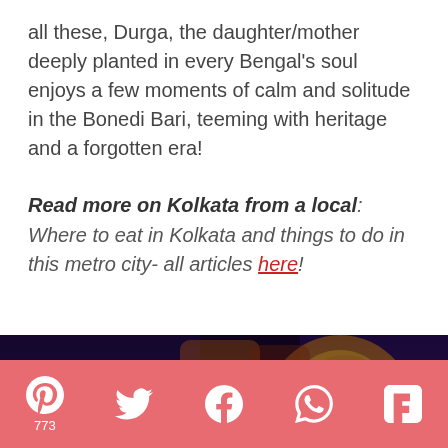all these, Durga, the daughter/mother deeply planted in every Bengal's soul enjoys a few moments of calm and solitude in the Bonedi Bari, teeming with heritage and a forgotten era!
Read more on Kolkata from a local: Where to eat in Kolkata and things to do in this metro city- all articles here!
[Figure (photo): Dark photograph showing colorful Durga Puja festival decorations and idol with vivid colors against a dark background]